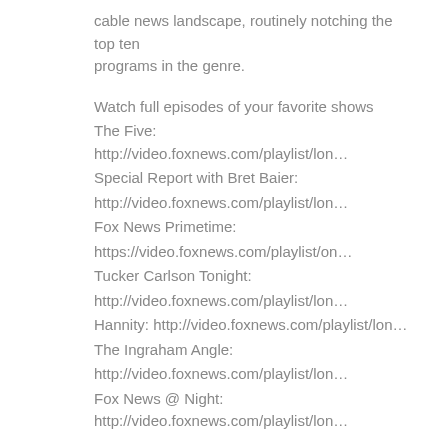cable news landscape, routinely notching the top ten programs in the genre.
Watch full episodes of your favorite shows
The Five: http://video.foxnews.com/playlist/lon…
Special Report with Bret Baier:
http://video.foxnews.com/playlist/lon…
Fox News Primetime:
https://video.foxnews.com/playlist/on…
Tucker Carlson Tonight:
http://video.foxnews.com/playlist/lon…
Hannity: http://video.foxnews.com/playlist/lon…
The Ingraham Angle:
http://video.foxnews.com/playlist/lon…
Fox News @ Night: http://video.foxnews.com/playlist/lon…
Follow Fox News on Facebook:
https://www.facebook.com/FoxNews/